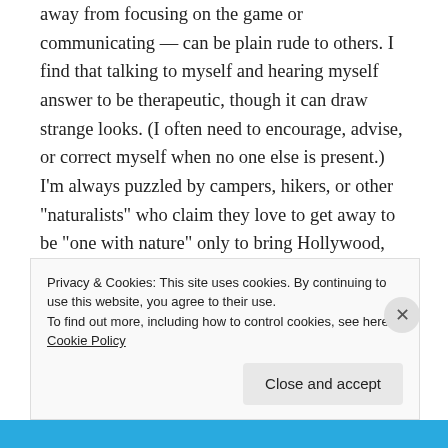away from focusing on the game or communicating — can be plain rude to others. I find that talking to myself and hearing myself answer to be therapeutic, though it can draw strange looks. (I often need to encourage, advise, or correct myself when no one else is present.) I'm always puzzled by campers, hikers, or other “naturalists” who claim they love to get away to be “one with nature” only to bring Hollywood, iTunes, and other “high-tech” with them. I don’t comprehend how that brings
Privacy & Cookies: This site uses cookies. By continuing to use this website, you agree to their use. To find out more, including how to control cookies, see here: Cookie Policy
Close and accept